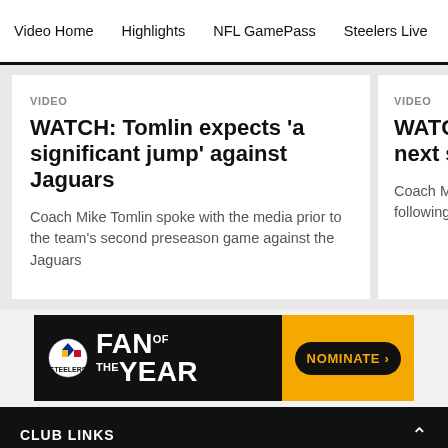Video Home  Highlights  NFL GamePass  Steelers Live  The Sta
VIDEO
WATCH: Tomlin expects 'a significant jump' against Jaguars
Coach Mike Tomlin spoke with the media prior to the team's second preseason game against the Jaguars
VIDEO
WATCH: next step
Coach Mike T following prac
[Figure (infographic): Steelers Fan of the Year advertisement banner with team logo and Nominate button]
CLUB LINKS
NFL CLUBS
MORE NFL SITES